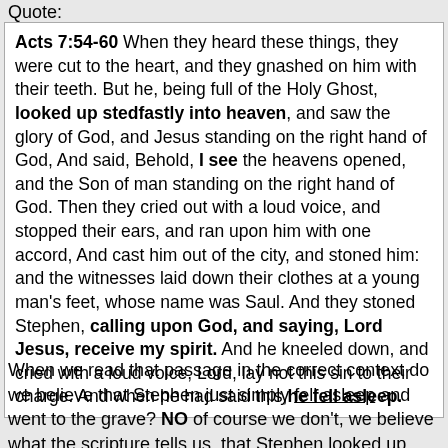Quote:
Acts 7:54-60 When they heard these things, they were cut to the heart, and they gnashed on him with their teeth. But he, being full of the Holy Ghost, looked up stedfastly into heaven, and saw the glory of God, and Jesus standing on the right hand of God, And said, Behold, I see the heavens opened, and the Son of man standing on the right hand of God. Then they cried out with a loud voice, and stopped their ears, and ran upon him with one accord, And cast him out of the city, and stoned him: and the witnesses laid down their clothes at a young man's feet, whose name was Saul. And they stoned Stephen, calling upon God, and saying, Lord Jesus, receive my spirit. And he kneeled down, and cried with a loud voice, Lord, lay not this sin to their charge. And when he had said this, he fell asleep.
When we read that passage in the correct context do we believe that Stephen just simply fell asleep and went to the grave? NO of course we don't, we believe what the scripture tells us, that Stephen looked up and saw the heavens opened, he witnessed the Glory of God, he saw